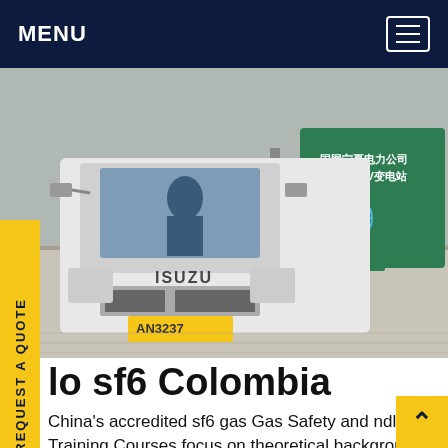MENU
[Figure (photo): Front view of a white Isuzu truck with license plate AN3237, parked near a gate with Chinese signage reading 国网宁夏电力公司 沙湖750kV变电站 and 国家电网]
lo sf6 Colombia
China's accredited sf6 gas Gas Safety and ndling Training Courses focus on theoretical background with practical field experience to provide technicians with vital knowledge for cre emission-free Sulfr hexafluoride gas handling